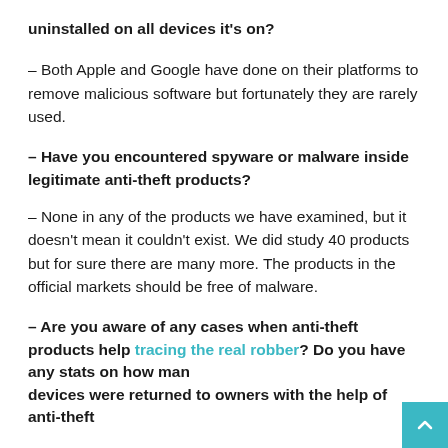uninstalled on all devices it's on?
– Both Apple and Google have done on their platforms to remove malicious software but fortunately they are rarely used.
– Have you encountered spyware or malware inside legitimate anti-theft products?
– None in any of the products we have examined, but it doesn't mean it couldn't exist. We did study 40 products but for sure there are many more. The products in the official markets should be free of malware.
– Are you aware of any cases when anti-theft products help tracing the real robber? Do you have any stats on how many devices were returned to owners with the help of anti-theft